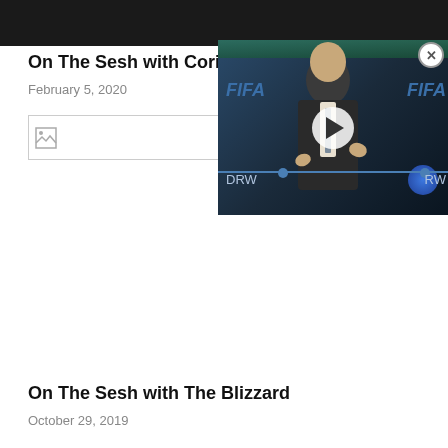[Figure (photo): Dark/black top banner image, partially cropped photo]
On The Sesh with Corin Bay
February 5, 2020
[Figure (photo): Broken image placeholder box]
[Figure (screenshot): Video overlay showing a man in a suit at a FIFA press conference with a play button, and a close (X) button in top right corner]
On The Sesh with The Blizzard
October 29, 2019